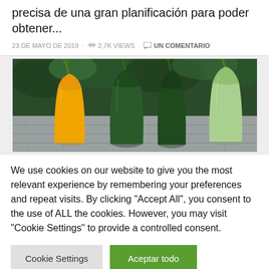precisa de una gran planificación para poder obtener...
23 DE MAYO DE 2019 · 2,7K VIEWS · UN COMENTARIO
[Figure (photo): Four zucchini/courgettes of different colors (yellow, dark green x2, light green) standing upright against a wooden fence with green foliage in the background]
We use cookies on our website to give you the most relevant experience by remembering your preferences and repeat visits. By clicking "Accept All", you consent to the use of ALL the cookies. However, you may visit "Cookie Settings" to provide a controlled consent.